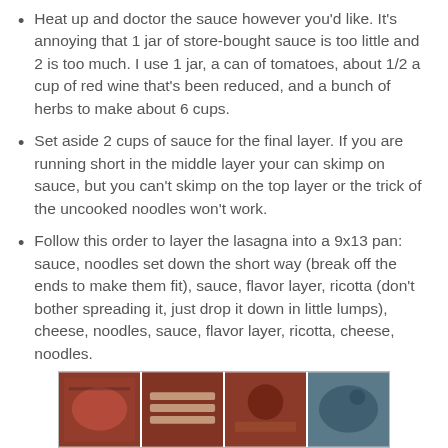Heat up and doctor the sauce however you'd like. It's annoying that 1 jar of store-bought sauce is too little and 2 is too much. I use 1 jar, a can of tomatoes, about 1/2 a cup of red wine that's been reduced, and a bunch of herbs to make about 6 cups.
Set aside 2 cups of sauce for the final layer. If you are running short in the middle layer your can skimp on sauce, but you can't skimp on the top layer or the trick of the uncooked noodles won't work.
Follow this order to layer the lasagna into a 9x13 pan: sauce, noodles set down the short way (break off the ends to make them fit), sauce, flavor layer, ricotta (don't bother spreading it, just drop it down in little lumps), cheese, noodles, sauce, flavor layer, ricotta, cheese, noodles.
[Figure (photo): A strip of four food preparation photos showing steps of making lasagna, including sauce in a pan, noodles being laid, and other ingredients.]